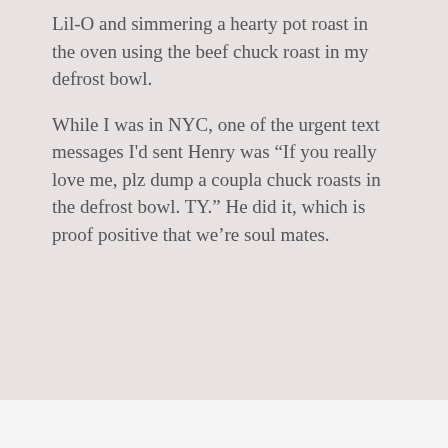Lil-O and simmering a hearty pot roast in the oven using the beef chuck roast in my defrost bowl.
While I was in NYC, one of the urgent text messages I'd sent Henry was "If you really love me, plz dump a coupla chuck roasts in the defrost bowl. TY." He did it, which is proof positive that we're soul mates.